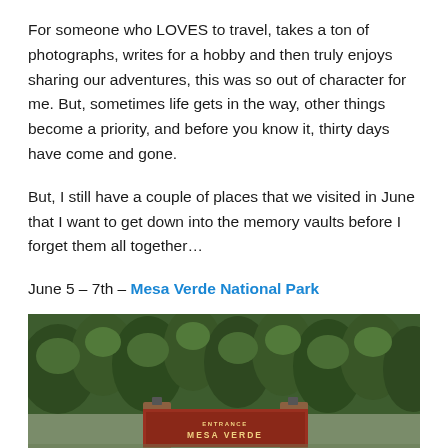For someone who LOVES to travel, takes a ton of photographs, writes for a hobby and then truly enjoys sharing our adventures, this was so out of character for me. But, sometimes life gets in the way, other things become a priority, and before you know it, thirty days have come and gone.
But, I still have a couple of places that we visited in June that I want to get down into the memory vaults before I forget them all together…
June 5 – 7th – Mesa Verde National Park
[Figure (photo): Entrance sign to Mesa Verde National Park surrounded by dense green pine trees. A brick sign reads ENTRANCE MESA VERDE partially visible at the bottom of the image.]